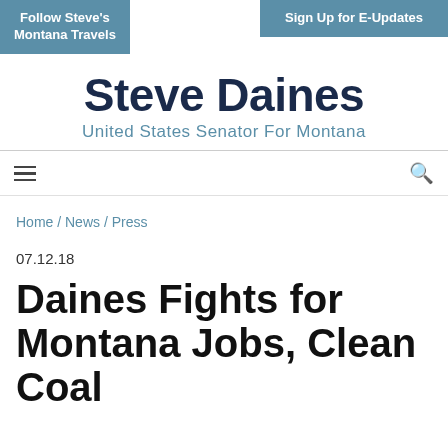Follow Steve's Montana Travels
Sign Up for E-Updates
Steve Daines
United States Senator For Montana
Home / News / Press
07.12.18
Daines Fights for Montana Jobs, Clean Coal